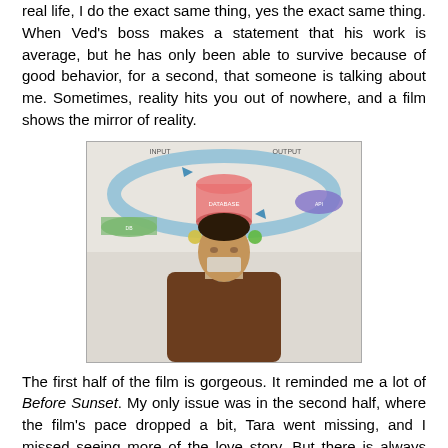real life, I do the exact same thing, yes the exact same thing. When Ved's boss makes a statement that his work is average, but he has only been able to survive because of good behavior, for a second, that someone is talking about me. Sometimes, reality hits you out of nowhere, and a film shows the mirror of reality.
[Figure (photo): A man in a brown sweater standing in front of a whiteboard/presentation showing a database input-output diagram with circular flow elements.]
The first half of the film is gorgeous. It reminded me a lot of Before Sunset. My only issue was in the second half, where the film's pace dropped a bit, Tara went missing, and I missed seeing more of the love story. But there is always much to see and think about in an Imtiaz Ali film. I am amazed at the reactions. I have been reading a range of reactions to the movie, from certain people disliking it to